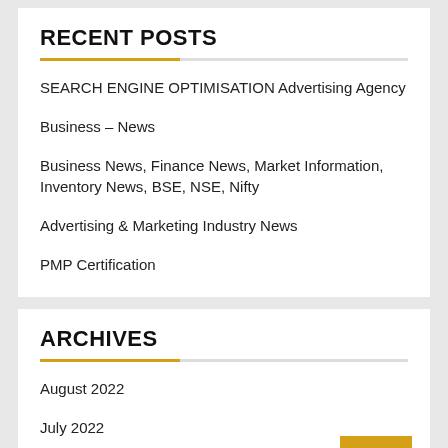RECENT POSTS
SEARCH ENGINE OPTIMISATION Advertising Agency
Business – News
Business News, Finance News, Market Information, Inventory News, BSE, NSE, Nifty
Advertising & Marketing Industry News
PMP Certification
ARCHIVES
August 2022
July 2022
June 2022
May 2022